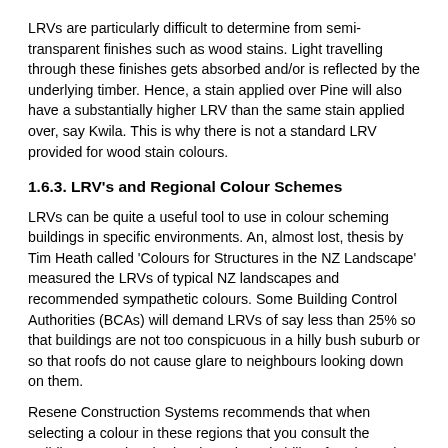LRVs are particularly difficult to determine from semi-transparent finishes such as wood stains. Light travelling through these finishes gets absorbed and/or is reflected by the underlying timber. Hence, a stain applied over Pine will also have a substantially higher LRV than the same stain applied over, say Kwila. This is why there is not a standard LRV provided for wood stain colours.
1.6.3. LRV's and Regional Colour Schemes
LRVs can be quite a useful tool to use in colour scheming buildings in specific environments. An, almost lost, thesis by Tim Heath called 'Colours for Structures in the NZ Landscape' measured the LRVs of typical NZ landscapes and recommended sympathetic colours. Some Building Control Authorities (BCAs) will demand LRVs of say less than 25% so that buildings are not too conspicuous in a hilly bush suburb or so that roofs do not cause glare to neighbours looking down on them.
Resene Construction Systems recommends that when selecting a colour in these regions that you consult the Building Control Authority about the suitability of such a colour with cladding solution you have chosen.
1.6.4. LRV Sensitive Building Materials
Higher LRVs are often specified for building systems which may be sensitive to heat. This recognises that absorbed light will convert to heat but does not necessarily take into account the 45% of the sun's energy emitted in the infra-red range. This can lead to the situation where two colours can have identical LRVs but dramatically different heat build up depending on whether the